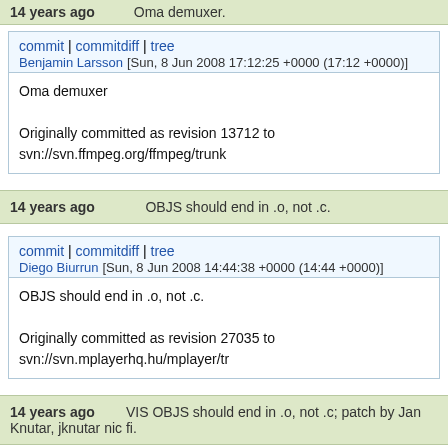14 years ago   Oma demuxer.
commit | commitdiff | tree
Benjamin Larsson [Sun, 8 Jun 2008 17:12:25 +0000 (17:12 +0000)]
Oma demuxer

Originally committed as revision 13712 to svn://svn.ffmpeg.org/ffmpeg/trunk
14 years ago   OBJS should end in .o, not .c.
commit | commitdiff | tree
Diego Biurrun [Sun, 8 Jun 2008 14:44:38 +0000 (14:44 +0000)]
OBJS should end in .o, not .c.

Originally committed as revision 27035 to svn://svn.mplayerhq.hu/mplayer/tr
14 years ago   VIS OBJS should end in .o, not .c; patch by Jan Knutar, jknutar nic fi.
commit | commitdiff | tree